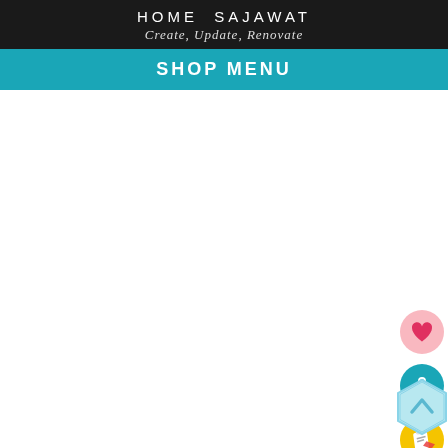HOME SAJAWAT
Create, Update, Renovate
SHOP MENU
[Figure (screenshot): White content area with four circular icon buttons on the right side: pink heart icon, teal shopping bag icon, yellow clipboard/order icon, grey share icon. A light blue hexagonal scroll-to-top button in the bottom right corner.]